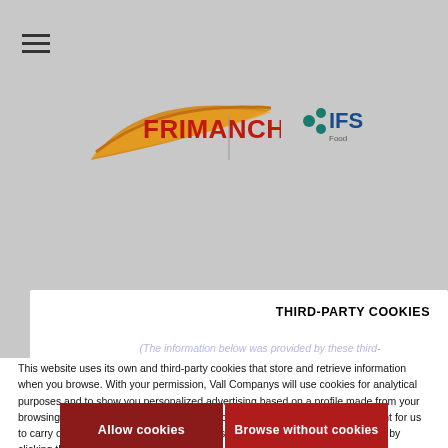[Figure (logo): Frimancha logo with orange/gold swoosh design and red bold text FRIMANCHA, plus IFS Food certification logo with teal dots]
THIRD-PARTY COOKIES
(The information below was provided by these third-party...
Cookies   Purpose   Opt-out
This website uses its own and third-party cookies that store and retrieve information when you browse. With your permission, Vall Companys will use cookies for analytical purposes and to show you personalized advertising based on a profile made from your browsing habits. You can click the "Allow cookies" button to give us your consent for us to carry out all the processing previously described or you can reject all cookies by clicking the "Browse without cookies" button.
You can consult our Use of Cookies and change your preferences before granting or denying your consent.